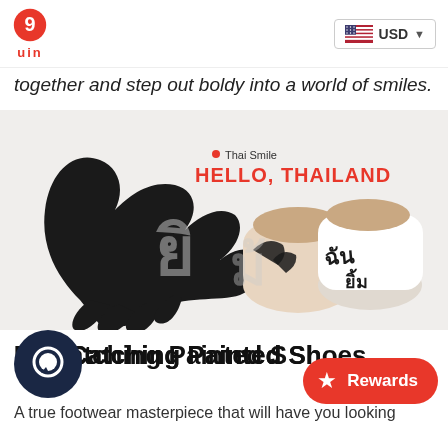uin — USD currency selector
together and step out boldy into a world of smiles.
[Figure (photo): Product photo of UIN Thai Smile painted slip-on shoes with black brushstroke art and Thai script, alongside a bat-wing decorative silhouette cutout. Text overlay reads: Thai Smile / HELLO, THAILAND]
Eye-Catching Painted Shoes
A true footwear masterpiece that will have you looking